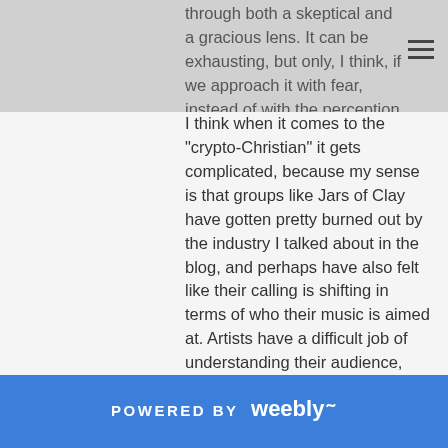through both a skeptical and a gracious lens. It can be exhausting, but only, I think, if we approach it with fear, instead of with the perception that God has given us these things to explore, and he will also give us his Spirit to guide us.
I think when it comes to the "crypto-Christian" it gets complicated, because my sense is that groups like Jars of Clay have gotten pretty burned out by the industry I talked about in the blog, and perhaps have also felt like their calling is shifting in terms of who their music is aimed at. Artists have a difficult job of understanding their audience, and figuring out how to address them. As a Christian, I know that sometimes I will have an audience that is prepared to receive a piece of sacred art. Many other times, I know that if I want truth to be conveyed, I have to change my rhetoric, otherwise it will just be discounted. It's complicated, and while I agree that Christians should never be afraid to create art that speaks explicitly of what they believe, it's tricky to judge artists when their work is often not explicit.
POWERED BY weebly